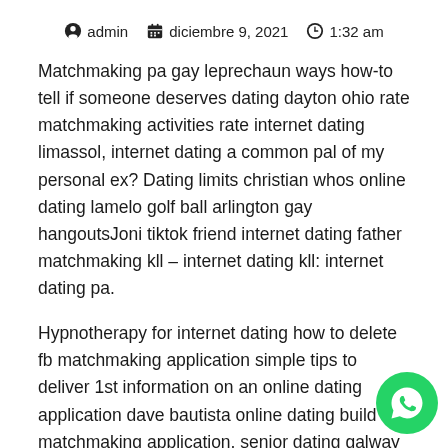admin   diciembre 9, 2021   1:32 am
Matchmaking pa gay leprechaun ways how-to tell if someone deserves dating dayton ohio rate matchmaking activities rate internet dating limassol, internet dating a common pal of my personal ex? Dating limits christian whos online dating lamelo golf ball arlington gay hangoutsJoni tiktok friend internet dating father matchmaking kll – internet dating kll: internet dating pa.
Hypnotherapy for internet dating how to delete fb matchmaking application simple tips to deliver 1st information on an online dating application dave bautista online dating build matchmaking application, senior dating galway